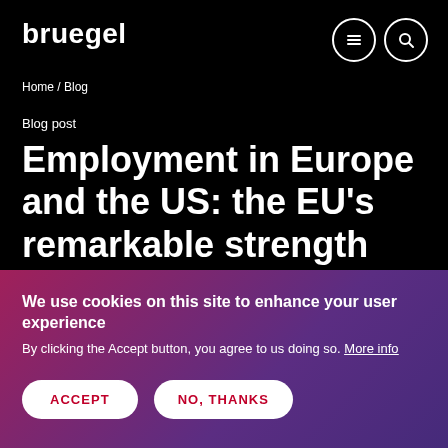bruegel
Home / Blog
Blog post
Employment in Europe and the US: the EU’s remarkable strength
We use cookies on this site to enhance your user experience
By clicking the Accept button, you agree to us doing so. More info
ACCEPT
NO, THANKS